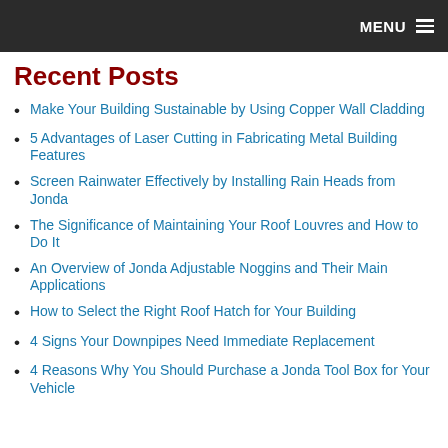MENU
Recent Posts
Make Your Building Sustainable by Using Copper Wall Cladding
5 Advantages of Laser Cutting in Fabricating Metal Building Features
Screen Rainwater Effectively by Installing Rain Heads from Jonda
The Significance of Maintaining Your Roof Louvres and How to Do It
An Overview of Jonda Adjustable Noggins and Their Main Applications
How to Select the Right Roof Hatch for Your Building
4 Signs Your Downpipes Need Immediate Replacement
4 Reasons Why You Should Purchase a Jonda Tool Box for Your Vehicle